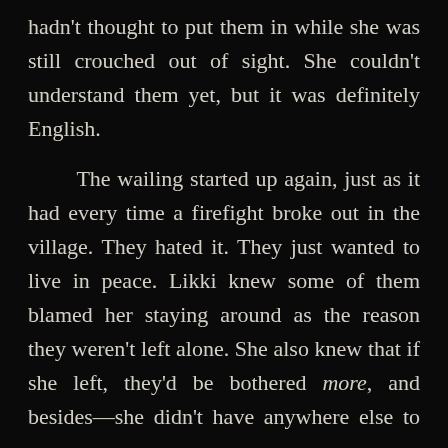hadn't thought to put them in while she was still crouched out of sight. She couldn't understand them yet, but it was definitely English.

    The wailing started up again, just as it had every time a firefight broke out in the village. They hated it. They just wanted to live in peace. Likki knew some of them blamed her staying around as the reason they weren't left alone. She also knew that if she left, they'd be bothered more, and besides—she didn't have anywhere else to go.

    She waited. The gunfire began to die down. American soldiers were shouting more orders—and she